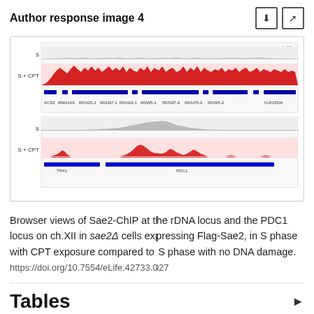Author response image 4
[Figure (other): Browser views of Sae2-ChIP tracks at the rDNA locus (top, ch XII) and the PDC1 locus (bottom, ch XII). Each panel shows two tracks labeled S and S + CPT, with red peaks indicating ChIP signal and blue bars indicating gene positions. Gene names are labeled on x-axis.]
Browser views of Sae2-ChIP at the rDNA locus and the PDC1 locus on ch.XII in sae2Δ cells expressing Flag-Sae2, in S phase with CPT exposure compared to S phase with no DNA damage.
https://doi.org/10.7554/eLife.42733.027
Tables
Additional files